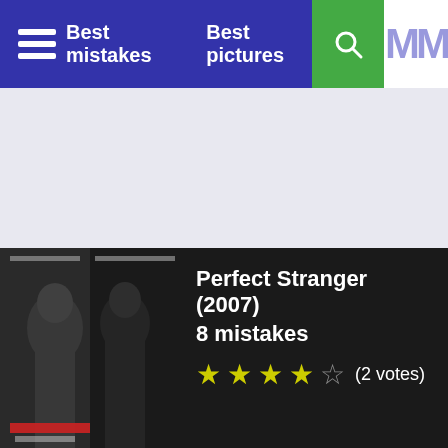Best mistakes  Best pictures
[Figure (screenshot): Movie card for Perfect Stranger (2007) showing movie poster on left and title/rating info on right]
Perfect Stranger (2007)
8 mistakes
★★★★☆ (2 votes)